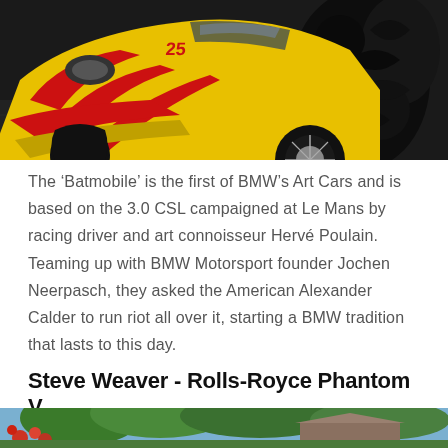[Figure (photo): Close-up of yellow and red BMW 3.0 CSL racing car with decorative art livery, viewed from front-low angle]
The ‘Batmobile’ is the first of BMW’s Art Cars and is based on the 3.0 CSL campaigned at Le Mans by racing driver and art connoisseur Hervé Poulain. Teaming up with BMW Motorsport founder Jochen Neerpasch, they asked the American Alexander Calder to run riot all over it, starting a BMW tradition that lasts to this day.
Steve Weaver - Rolls-Royce Phantom V
[Figure (photo): Outdoor scene with trees, red flowers and a building, appears to be a garden or estate setting]